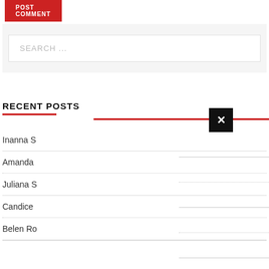[Figure (screenshot): POST COMMENT button (red background, white text)]
[Figure (screenshot): Search input box with placeholder text SEARCH ...]
RECENT POSTS
Inanna S
Amanda
Juliana S
Candice
Belen Ro